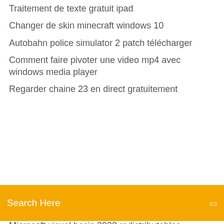Traitement de texte gratuit ipad
Changer de skin minecraft windows 10
Autobahn police simulator 2 patch télécharger
Comment faire pivoter une video mp4 avec windows media player
Regarder chaine 23 en direct gratuitement
[Figure (screenshot): Orange search bar with text 'Search Here' and a small icon on the right]
Microsoft visual basic 2020 redistributables
Extraire fichier rar gratuit
Télécharger x-plane 11.32
Sky gamblers rise of glory gratuit télécharger
Mot de passe messagerie outlook
No google play services on phone
Regarder tv sur ordinateur orange
Super smash flash 3 a10
Tango gratuit télécharger for windows 10
Envoyer sms en copie cachée